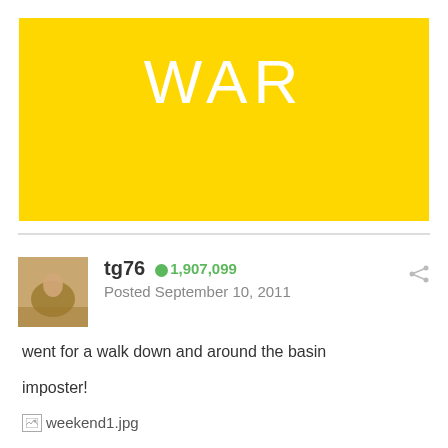[Figure (illustration): Yellow banner with large white text reading WAR]
tg76   ● 1,907,099
Posted September 10, 2011
went for a walk down and around the basin
imposter!
[Figure (photo): Broken image placeholder for weekend1.jpg]
new shade sail things on old unused bridge
[Figure (photo): Broken image placeholder for weekend2.jpg]
new art on the boardwalk (its a giant eel net)